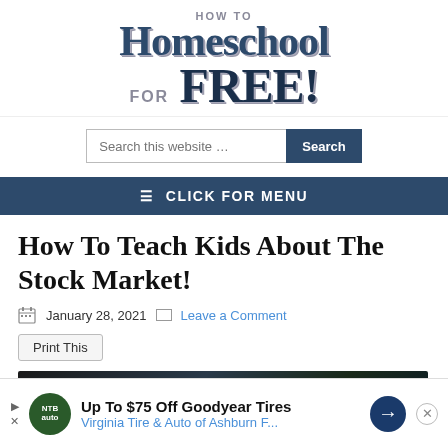[Figure (logo): How To Homeschool For FREE! website logo in navy blue serif and sans-serif text]
[Figure (screenshot): Search bar with text 'Search this website ...' and a dark blue Search button]
≡ CLICK FOR MENU
How To Teach Kids About The Stock Market!
January 28, 2021   Leave a Comment
Print This
[Figure (photo): Article header image showing text 'How To Homeschool!' overlaid on a dark background with stock market numbers in green]
[Figure (infographic): Advertisement banner: Up To $75 Off Goodyear Tires - Virginia Tire & Auto of Ashburn F...]